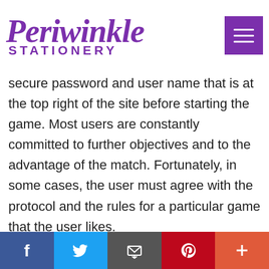Periwinkle Stationery
secure password and user name that is at the top right of the site before starting the game. Most users are constantly committed to further objectives and to the advantage of the match. Fortunately, in some cases, the user must agree with the protocol and the rules for a particular game that the user likes.
It is proposed that the player undergoes a variety of diversion choices some time ago preferring the target of online opening: the finest casino area could be a welcoming opening. You will turn t
Social share bar: Facebook, Twitter, Email, Pinterest, More